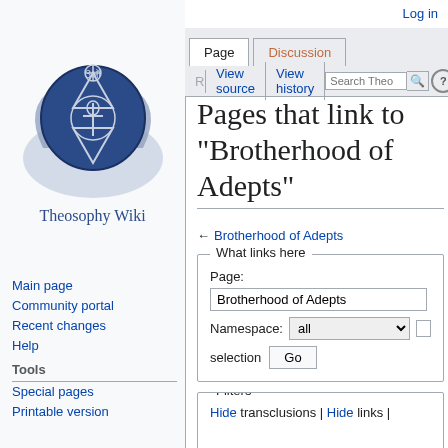Log in
[Figure (logo): Theosophy Wiki logo: circular emblem with Star of David, ankh, and lotus flower, with text 'Theosophy Wiki' below]
Main page
Community portal
Recent changes
Help
Tools
Special pages
Printable version
Pages that link to "Brotherhood of Adepts"
← Brotherhood of Adepts
What links here
Page: Brotherhood of Adepts Namespace: all selection Go
Filters Hide transclusions | Hide links |